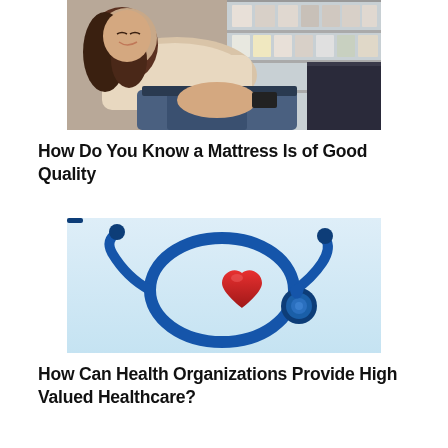[Figure (photo): A woman lying on a mattress in a store, smiling with eyes closed, wearing a beige top, with store shelving visible in the background]
How Do You Know a Mattress Is of Good Quality
[Figure (photo): A blue stethoscope arranged in a loop next to a red heart model on a light blue background]
How Can Health Organizations Provide High Valued Healthcare?